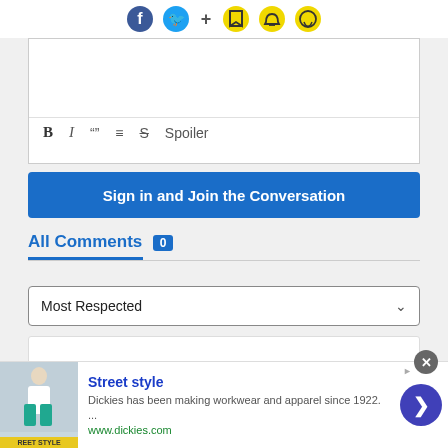[Figure (screenshot): Social sharing bar with Facebook, Twitter, plus, bookmark, bell, and chat icons]
[Figure (screenshot): Comment text input box with formatting toolbar (Bold, Italic, Quote, List, Strikethrough, Spoiler buttons)]
Sign in and Join the Conversation
All Comments 0
Most Respected
There are no comments yet. Why don't you write one?
[Figure (screenshot): Advertisement banner: Street style - Dickies has been making workwear and apparel since 1922. www.dickies.com]